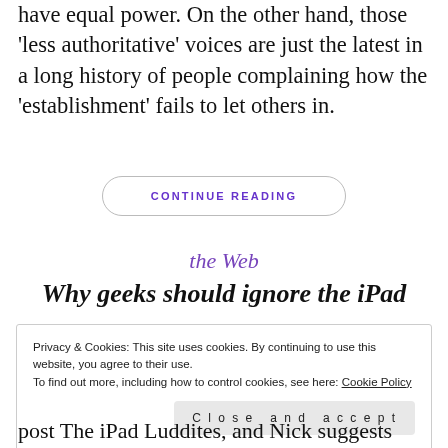have equal power. On the other hand, those 'less authoritative' voices are just the latest in a long history of people complaining how the 'establishment' fails to let others in.
CONTINUE READING
the Web
Why geeks should ignore the iPad
Privacy & Cookies: This site uses cookies. By continuing to use this website, you agree to their use.
To find out more, including how to control cookies, see here: Cookie Policy
Close and accept
post The iPad Luddites, and Nick suggests